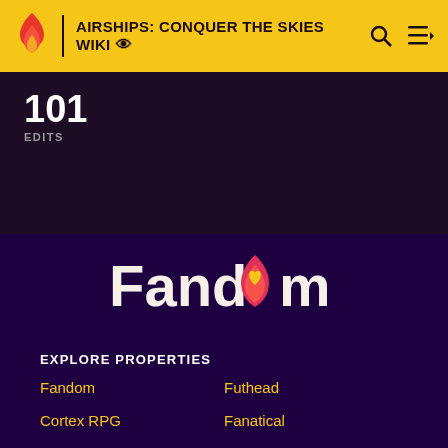AIRSHIPS: CONQUER THE SKIES WIKI
101
EDITS
[Figure (logo): Fandom logo with flame icon and heart]
EXPLORE PROPERTIES
Fandom
Futhead
Cortex RPG
Fanatical
Muthead